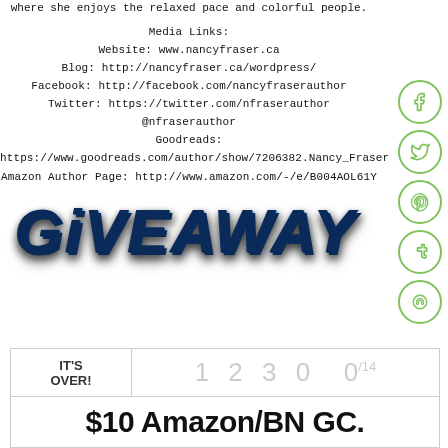where she enjoys the relaxed pace and colorful people.
Media Links:
Website: www.nancyfraser.ca
Blog: http://nancyfraser.ca/wordpress/
Facebook: http://facebook.com/nancyfraserauthor
Twitter: https://twitter.com/nfraserauthor @nfraserauthor
Goodreads:
https://www.goodreads.com/author/show/7206382.Nancy_Fraser
Amazon Author Page: http://www.amazon.com/-/e/B004AOL61Y
[Figure (illustration): GIVEAWAY text in large blue bubble/3D letters with shadow]
| IT'S OVER! | 1 2 3 0 | 0/14 |
| $10 Amazon/BN GC. |  |  |